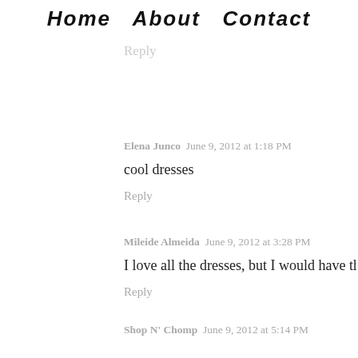Home   About   Contact
Reply
Elena Junco   June 9, 2012 at 1:18 PM
cool dresses
Reply
Mileide Almeida   June 9, 2012 at 3:28 PM
I love all the dresses, but I would have the third for me .. he's
Reply
Shop N' Chomp   June 9, 2012 at 5:14 PM
I adore those floral dresses!
Reply